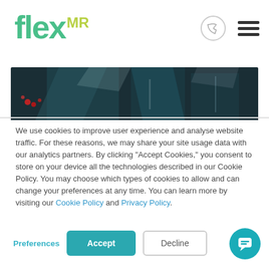[Figure (logo): FlexMR logo with teal 'flex' text and yellow-green 'MR' superscript]
[Figure (photo): Dark night photo of reflective surfaces, possibly vehicles or buildings with teal/blue tones and red lights visible]
We use cookies to improve user experience and analyse website traffic. For these reasons, we may share your site usage data with our analytics partners. By clicking “Accept Cookies,” you consent to store on your device all the technologies described in our Cookie Policy. You may choose which types of cookies to allow and can change your preferences at any time. You can learn more by visiting our Cookie Policy and Privacy Policy.